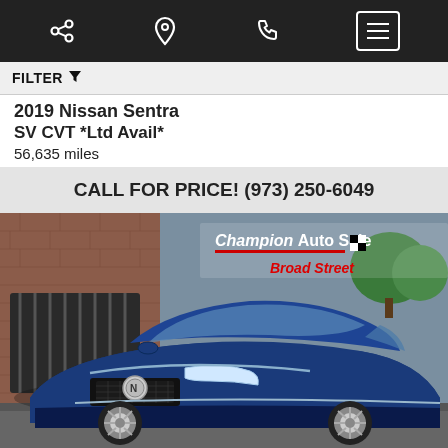Navigation bar with share, location, phone, and menu icons
FILTER
2019 Nissan Sentra SV CVT *Ltd Avail*
56,635 miles
CALL FOR PRICE! (973) 250-6049
[Figure (photo): Blue Nissan Sentra parked in front of a brick building with Champion Auto Sales Broad Street dealer overlay logo]